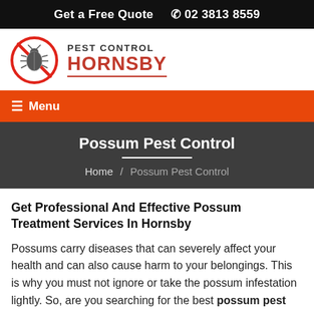Get a Free Quote   ☎ 02 3813 8559
[Figure (logo): Pest Control Hornsby logo: red circle with a crossed-out insect/beetle, text reading PEST CONTROL HORNSBY]
☰ Menu
Possum Pest Control
Home / Possum Pest Control
Get Professional And Effective Possum Treatment Services In Hornsby
Possums carry diseases that can severely affect your health and can also cause harm to your belongings. This is why you must not ignore or take the possum infestation lightly. So, are you searching for the best possum pest